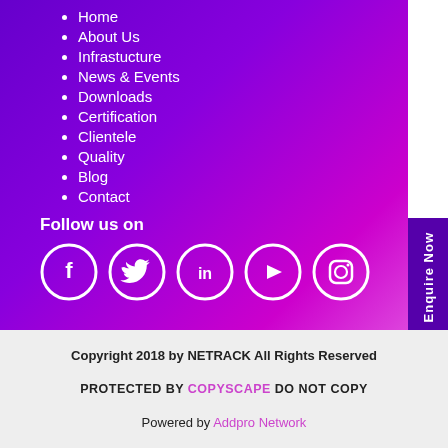Home
About Us
Infrastucture
News & Events
Downloads
Certification
Clientele
Quality
Blog
Contact
Follow us on
[Figure (illustration): Social media icons: Facebook, Twitter, LinkedIn, YouTube, Instagram in white circles on purple background]
Enquire Now
Copyright 2018 by NETRACK All Rights Reserved
PROTECTED BY COPYSCAPE DO NOT COPY
Powered by Addpro Network